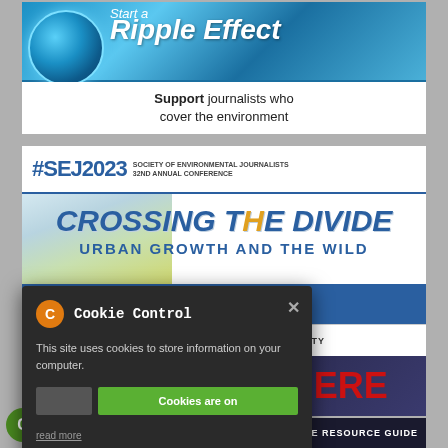[Figure (illustration): Ripple Effect banner with blue globe and water background. Text: 'Start a Ripple Effect — Support journalists who cover the environment']
[Figure (illustration): #SEJ2023 Society of Environmental Journalists 32nd Annual Conference banner. 'CROSSING THE DIVIDE — URBAN GROWTH AND THE WILD'. APRIL 19-23, 2023. HOSTED BY BOISE STATE UNIVERSITY.]
[Figure (illustration): SEJ NEEDS YOU! — REGISTER HERE strip banner]
[Figure (screenshot): Cookie Control dialog overlay. Text: 'Cookie Control. This site uses cookies to store information on your computer. Cookies are on. read more']
[Figure (illustration): Climate Change Resource Guide bottom banner with SEJ logo]